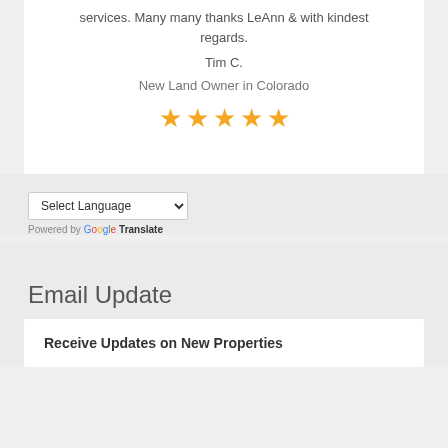services. Many many thanks LeAnn & with kindest regards.
Tim C.
New Land Owner in Colorado
[Figure (other): Five gold star rating]
[Figure (other): Google Translate language selector widget with 'Select Language' dropdown and 'Powered by Google Translate' text]
Email Update
Receive Updates on New Properties